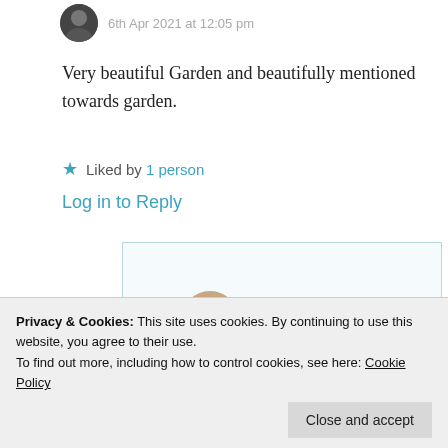6th Apr 2021 at 12:05 pm
Very beautiful Garden and beautifully mentioned towards garden.
★ Liked by 1 person
Log in to Reply
Suma Reddy
Privacy & Cookies: This site uses cookies. By continuing to use this website, you agree to their use.
To find out more, including how to control cookies, see here: Cookie Policy
Close and accept